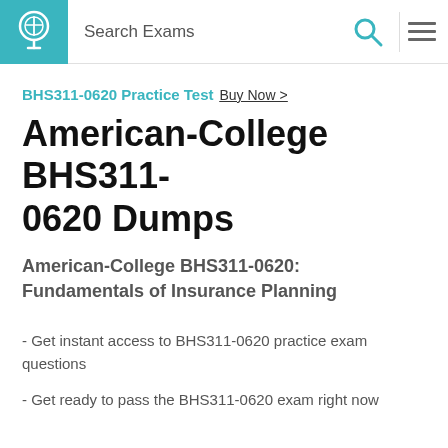Search Exams
BHS311-0620 Practice Test  Buy Now >
American-College BHS311-0620 Dumps
American-College BHS311-0620: Fundamentals of Insurance Planning
- Get instant access to BHS311-0620 practice exam questions
- Get ready to pass the BHS311-0620 exam right now